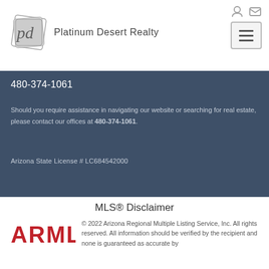[Figure (logo): Platinum Desert Realty logo with stylized 'pd' initials and company name]
480-374-1061
Should you require assistance in navigating our website or searching for real estate, please contact our offices at 480-374-1061.
Arizona State License # LC684542000
MLS® Disclaimer
[Figure (logo): ARMLS logo in red block letters]
© 2022 Arizona Regional Multiple Listing Service, Inc. All rights reserved. All information should be verified by the recipient and none is guaranteed as accurate by